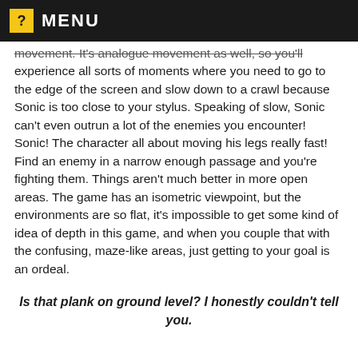MENU
movement. It's analogue movement as well, so you'll experience all sorts of moments where you need to go to the edge of the screen and slow down to a crawl because Sonic is too close to your stylus. Speaking of slow, Sonic can't even outrun a lot of the enemies you encounter! Sonic! The character all about moving his legs really fast! Find an enemy in a narrow enough passage and you're fighting them. Things aren't much better in more open areas. The game has an isometric viewpoint, but the environments are so flat, it's impossible to get some kind of idea of depth in this game, and when you couple that with the confusing, maze-like areas, just getting to your goal is an ordeal.
Is that plank on ground level? I honestly couldn't tell you.